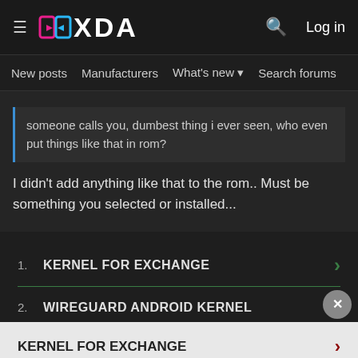XDA | Log in | New posts | Manufacturers | What's new | Search forums | Members
someone calls you, dumbest thing i ever seen, who even put things like that in rom?
I didn't add anything like that to the rom.. Must be something you selected or installed...
[Figure (screenshot): Advertisement section with two list items: 1. KERNEL FOR EXCHANGE and 2. WIREGUARD ANDROID KERNEL with green arrows]
[Figure (screenshot): Light background ad section with KERNEL FOR EXCHANGE title, Ad badge, An AMG Site label, and a close button]